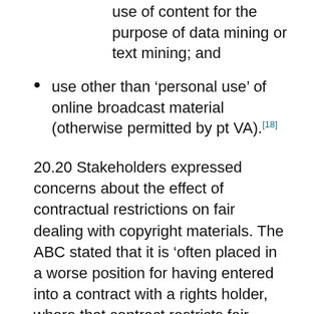use of content for the purpose of data mining or text mining; and
use other than ‘personal use’ of online broadcast material (otherwise permitted by pt VA).[18]
20.20 Stakeholders expressed concerns about the effect of contractual restrictions on fair dealing with copyright materials. The ABC stated that it is ‘often placed in a worse position for having entered into a contract with a rights holder, where that contract restricts fair dealing, compared